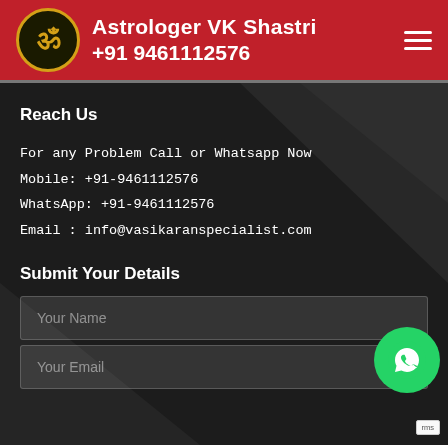Astrologer VK Shastri +91 9461112576
Reach Us
For any Problem Call or Whatsapp Now
Mobile: +91-9461112576
WhatsApp: +91-9461112576
Email : info@vasikaranspecialist.com
Submit Your Details
Your Name
Your Email